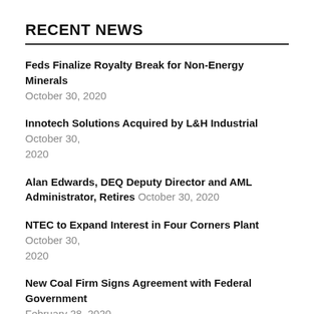RECENT NEWS
Feds Finalize Royalty Break for Non-Energy Minerals October 30, 2020
Innotech Solutions Acquired by L&H Industrial October 30, 2020
Alan Edwards, DEQ Deputy Director and AML Administrator, Retires October 30, 2020
NTEC to Expand Interest in Four Corners Plant October 30, 2020
New Coal Firm Signs Agreement with Federal Government February 28, 2020